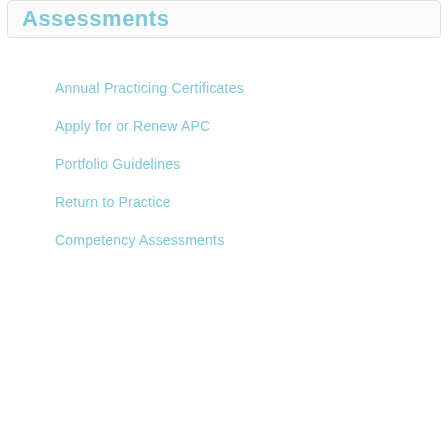Assessments
Annual Practicing Certificates
Apply for or Renew APC
Portfolio Guidelines
Return to Practice
Competency Assessments
Home page